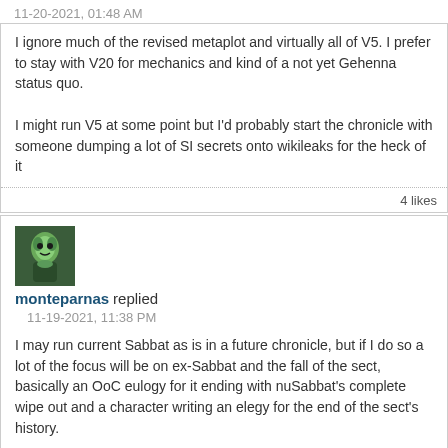11-20-2021, 01:48 AM
I ignore much of the revised metaplot and virtually all of V5. I prefer to stay with V20 for mechanics and kind of a not yet Gehenna status quo.

I might run V5 at some point but I'd probably start the chronicle with someone dumping a lot of SI secrets onto wikileaks for the heck of it
4 likes
[Figure (photo): Avatar of user monteparnas - green-toned fantasy character image]
monteparnas replied
11-19-2021, 11:38 PM
I may run current Sabbat as is in a future chronicle, but if I do so a lot of the focus will be on ex-Sabbat and the fall of the sect, basically an OoC eulogy for it ending with nuSabbat's complete wipe out and a character writing an elegy for the end of the sect's history.
[Figure (photo): Avatar of user Ragged Robin - orange/red-haired fantasy character image]
Ragged Robin replied
11-19-2021, 08:49 PM